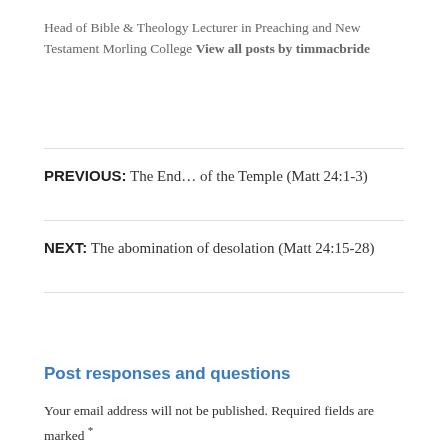Head of Bible & Theology Lecturer in Preaching and New Testament Morling College View all posts by timmacbride
PREVIOUS: The End… of the Temple (Matt 24:1-3)
NEXT: The abomination of desolation (Matt 24:15-28)
Post responses and questions
Your email address will not be published. Required fields are marked *